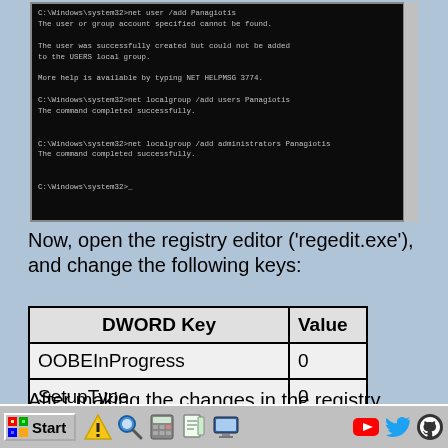[Figure (screenshot): Windows Command Prompt (cmd) window showing net user /add and net localgroup /add commands being run to create user 'Panagiotis' and add to users and administrators groups.]
Now, open the registry editor ('regedit.exe'), and change the following keys:
| DWORD Key | Value |
| --- | --- |
| OOBEInProgress | 0 |
| SetupType | 0 |
| SystemSetupInProgress | 0 |
After making the changes in the registry, close the cmd window. This will cause your
[Figure (screenshot): Windows taskbar with Start button, warning icon, magnifier icon, calculator icon, notepad icon, computer icon, and right-side icons including YouTube, Twitter, GitHub.]